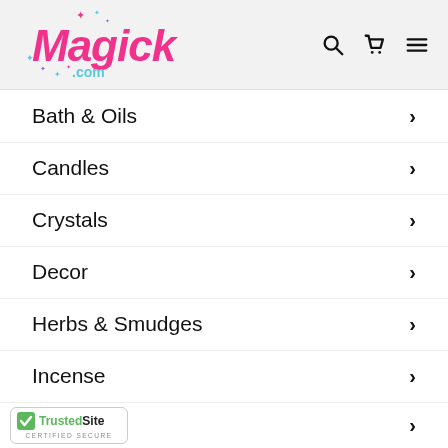[Figure (logo): Magick.com logo in pink cursive script with teal and pink sparkle stars, on a light grey header bar]
Bath & Oils
Candles
Crystals
Decor
Herbs & Smudges
Incense
Jewelry
[Figure (logo): TrustedSite Certified Secure badge with green checkmark]